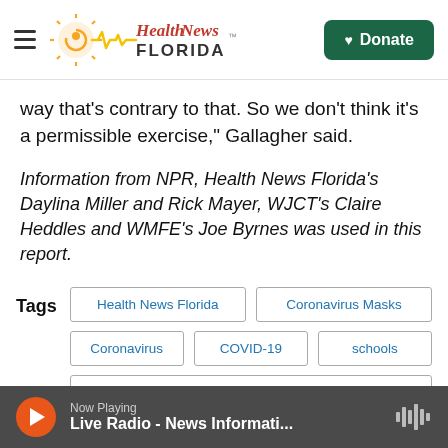Health News Florida | Donate
way that's contrary to that. So we don't think it's a permissible exercise," Gallagher said.
Information from NPR, Health News Florida's Daylina Miller and Rick Mayer, WJCT's Claire Heddles and WMFE's Joe Byrnes was used in this report.
Tags: Health News Florida | Coronavirus Masks | Coronavirus | COVID-19 | schools | Florida Education Commissioner Richard Corcoran
Now Playing — Live Radio - News Informati...